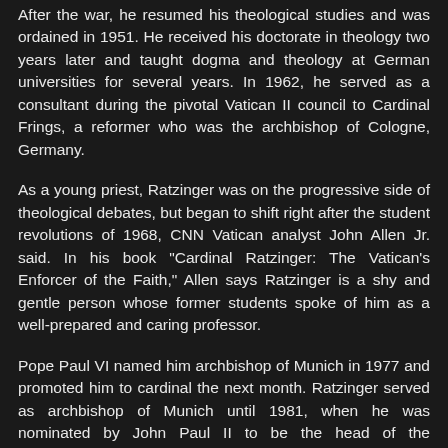After the war, he resumed his theological studies and was ordained in 1951. He received his doctorate in theology two years later and taught dogma and theology at German universities for several years. In 1962, he served as a consultant during the pivotal Vatican II council to Cardinal Frings, a reformer who was the archbishop of Cologne, Germany.
As a young priest, Ratzinger was on the progressive side of theological debates, but began to shift right after the student revolutions of 1968, CNN Vatican analyst John Allen Jr. said. In his book "Cardinal Ratzinger: The Vatican's Enforcer of the Faith," Allen says Ratzinger is a shy and gentle person whose former students spoke of him as a well-prepared and caring professor.
Pope Paul VI named him archbishop of Munich in 1977 and promoted him to cardinal the next month. Ratzinger served as archbishop of Munich until 1981, when he was nominated by John Paul II to be the head of the Congregation for the Doctrine of the Faith, a position he held until his election as pope.